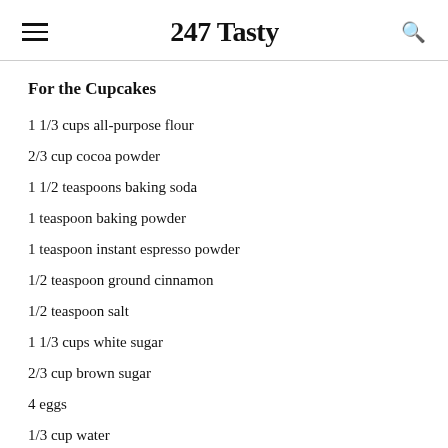247 Tasty
For the Cupcakes
1 1/3 cups all-purpose flour
2/3 cup cocoa powder
1 1/2 teaspoons baking soda
1 teaspoon baking powder
1 teaspoon instant espresso powder
1/2 teaspoon ground cinnamon
1/2 teaspoon salt
1 1/3 cups white sugar
2/3 cup brown sugar
4 eggs
1/3 cup water
2 teaspoons vanilla extract